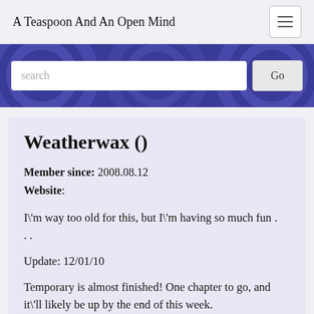A Teaspoon And An Open Mind
[Figure (screenshot): Search bar with text input field labeled 'search' and a 'Go' button, on a dark purple background with decorative concentric circle patterns]
Weatherwax ()
Member since: 2008.08.12
Website:
I\'m way too old for this, but I\'m having so much fun . . .
Update: 12/01/10
Temporary is almost finished! One chapter to go, and it\'ll likely be up by the end of this week.